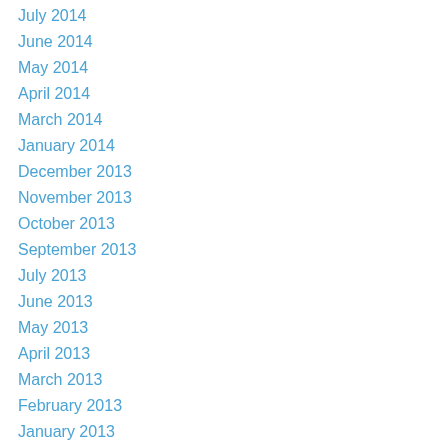July 2014
June 2014
May 2014
April 2014
March 2014
January 2014
December 2013
November 2013
October 2013
September 2013
July 2013
June 2013
May 2013
April 2013
March 2013
February 2013
January 2013
December 2012
November 2012
October 2012